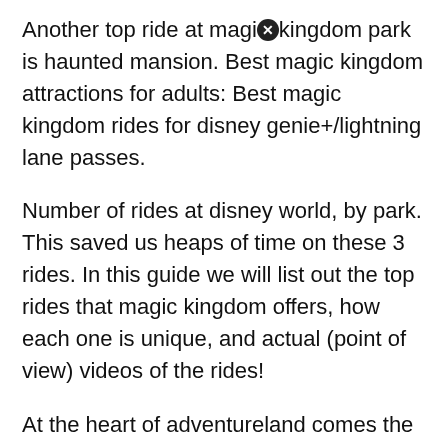Another top ride at magic kingdom park is haunted mansion. Best magic kingdom attractions for adults: Best magic kingdom rides for disney genie+/lightning lane passes.
Number of rides at disney world, by park. This saved us heaps of time on these 3 rides. In this guide we will list out the top rides that magic kingdom offers, how each one is unique, and actual (point of view) videos of the rides!
At the heart of adventureland comes the very definition of the adventure itself, the pirates of the caribbean ride! Out of the 40 or so attractions, only 7 of them have height requirements. Seven dwarfs mine train typically has the longest line in the park, but splash mountain, big thunder mountain, or so...